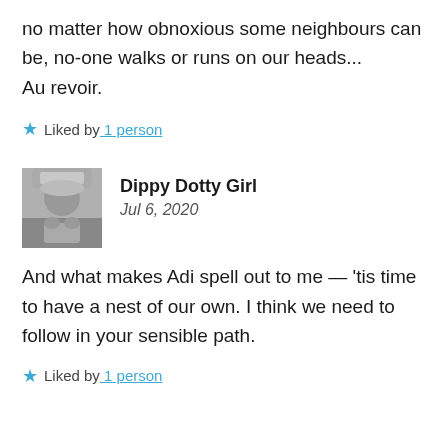no matter how obnoxious some neighbours can be, no-one walks or runs on our heads...
Au revoir.
Liked by 1 person
Dippy Dotty Girl
Jul 6, 2020
And what makes Adi spell out to me — 'tis time to have a nest of our own. I think we need to follow in your sensible path.
Liked by 1 person